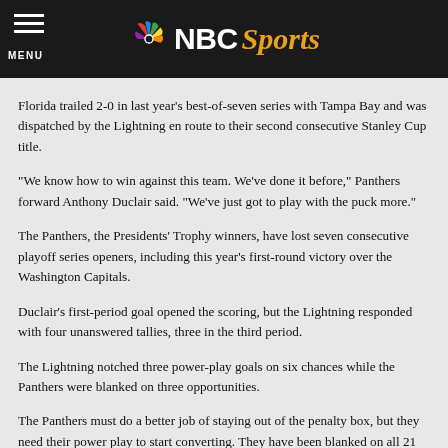NBC Sports
Florida trailed 2-0 in last year's best-of-seven series with Tampa Bay and was dispatched by the Lightning en route to their second consecutive Stanley Cup title.
"We know how to win against this team. We've done it before," Panthers forward Anthony Duclair said. "We've just got to play with the puck more."
The Panthers, the Presidents' Trophy winners, have lost seven consecutive playoff series openers, including this year's first-round victory over the Washington Capitals.
Duclair's first-period goal opened the scoring, but the Lightning responded with four unanswered tallies, three in the third period.
The Lightning notched three power-play goals on six chances while the Panthers were blanked on three opportunities.
The Panthers must do a better job of staying out of the penalty box, but they need their power play to start converting. They have been blanked on all 21 man-advantage opportunities in the playoffs so far, a shocking result for a team which ranked fifth in the